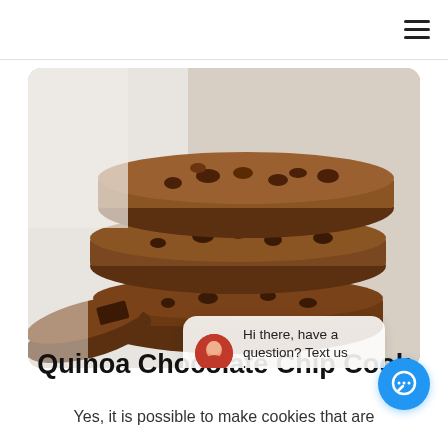☰
[Figure (photo): Stack of quinoa chocolate chip cookies on a light background, with a chat popup overlay reading 'Hi there, have a question? Text us here.' and a close button. A date badge shows DECEMBER 13 2021.]
Quinoa Chocolate Chip Cook
Yes, it is possible to make cookies that are